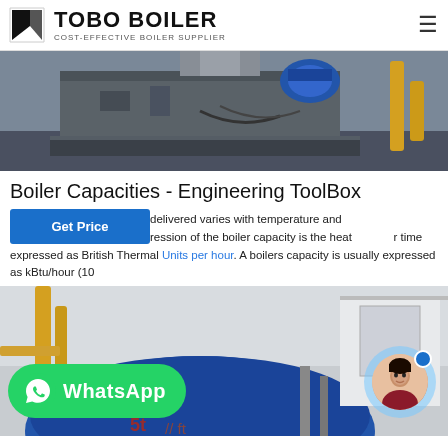TOBO BOILER - COST-EFFECTIVE BOILER SUPPLIER
[Figure (photo): Industrial boiler equipment in a factory setting, showing large grey metal boiler machinery with blue motor/fan components and yellow piping in background]
Boiler Capacities - Engineering ToolBox
Since the amount of steam delivered varies with temperature and common expression of the boiler capacity is the heat per time expressed as British Thermal Units per hour. A boilers capacity is usually expressed as kBtu/hour (10...
[Figure (photo): Industrial boiler room with large blue/dark cylindrical boiler vessel, yellow pipes, and industrial equipment. WhatsApp contact button overlay and chat avatar overlay visible.]